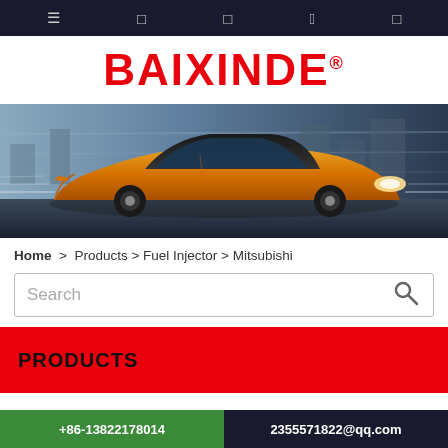Navigation bar with icons
[Figure (logo): BAIXINDE red bold logo with registered trademark symbol]
[Figure (photo): Orange/gold sports car (BMW-style coupe) speeding against a blurred urban background]
Home > Products > Fuel Injector > Mitsubishi
Search
PRODUCTS
+86-13822178014    2355571822@qq.com